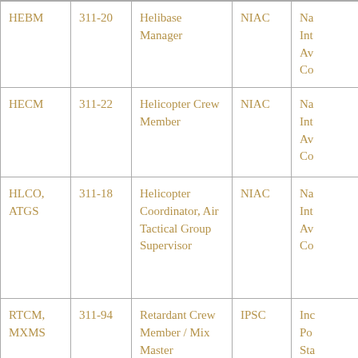| Code | Position # | Position Title | Certifying Agency | Qualifications (truncated) |
| --- | --- | --- | --- | --- |
| HEBM | 311-20 | Helibase Manager | NIAC | Na
Int
Av
Co |
| HECM | 311-22 | Helicopter Crew Member | NIAC | Na
Int
Av
Co |
| HLCO, ATGS | 311-18 | Helicopter Coordinator, Air Tactical Group Supervisor | NIAC | Na
Int
Av
Co |
| RTCM, MXMS | 311-94 | Retardant Crew Member / Mix Master | IPSC | Inc
Po
Sta
Co |